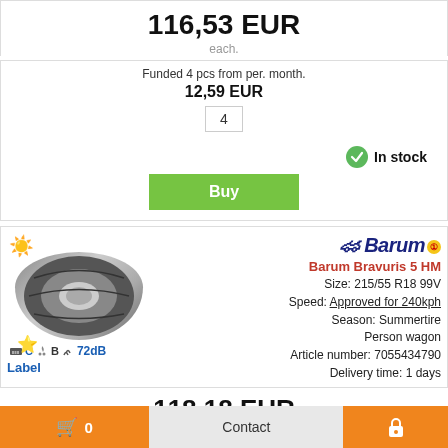116,53 EUR
each.
Funded 4 pcs from per. month.
12,59 EUR
4
In stock
Buy
[Figure (photo): Tire product listing with Barum logo, tire image, fuel/wet/noise label icons, and product specs]
Barum Bravuris 5 HM
Size: 215/55 R18 99V
Speed: Approved for 240kph
Season: Summertire
Person wagon
Article number: 7055434790
Delivery time: 1 days
118,18 EUR
0
Contact